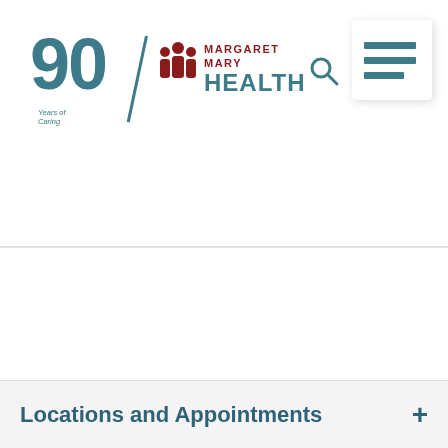[Figure (logo): Margaret Mary Health logo with '90 Years of Caring' badge, teal colored '90' with diagonal line, red people icon, and 'MARGARET MARY HEALTH' text in red and teal]
[Figure (other): Search icon (magnifying glass) in teal]
[Figure (other): Menu/hamburger icon in a white box with shadow, three teal horizontal bars]
Locations and Appointments